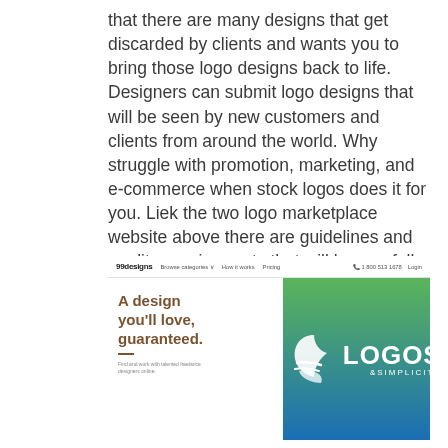that there are many designs that get discarded by clients and wants you to bring those logo designs back to life. Designers can submit logo designs that will be seen by new customers and clients from around the world. Why struggle with promotion, marketing, and e-commerce when stock logos does it for you. Liek the two logo marketplace website above there are guidelines and quality requirements that will be carefully look at before a logo is accepted.
[Figure (screenshot): Screenshot of 99designs website navbar with logo, navigation links (Browse categories, How it works, Pricing), phone number (1 800 513 1678) and Login. Below the navbar is a hero section showing 'A design you'll love, guaranteed.' headline text on the left, and a green-to-blue gradient panel on the right showing a leaf/logo icon and 'LOGOS &SIMPLICITY' branding.]